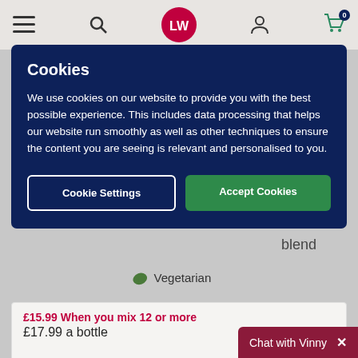LW website header with menu, search, logo, account and cart icons
blend
Vegetarian
£15.99 When you mix 12 or more
£17.99 a bottle
Cookies
We use cookies on our website to provide you with the best possible experience. This includes data processing that helps our website run smoothly as well as other techniques to ensure the content you are seeing is relevant and personalised to you.
Cookie Settings
Accept Cookies
Chat with Vinny